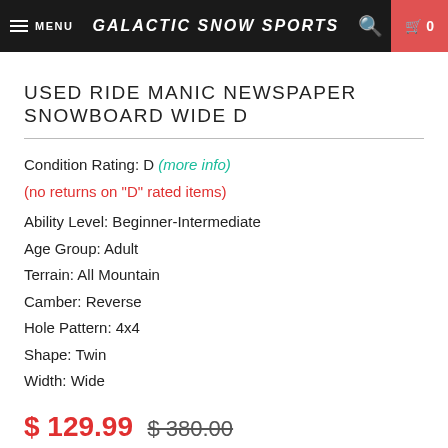MENU | GALACTIC SNOW SPORTS | 0
USED RIDE MANIC NEWSPAPER SNOWBOARD WIDE D
Condition Rating: D (more info)
(no returns on "D" rated items)
Ability Level: Beginner-Intermediate
Age Group: Adult
Terrain: All Mountain
Camber: Reverse
Hole Pattern: 4x4
Shape: Twin
Width: Wide
$ 129.99  $ 380.00
You Save 66% ($ 250.01)
Ground Shipping: $24